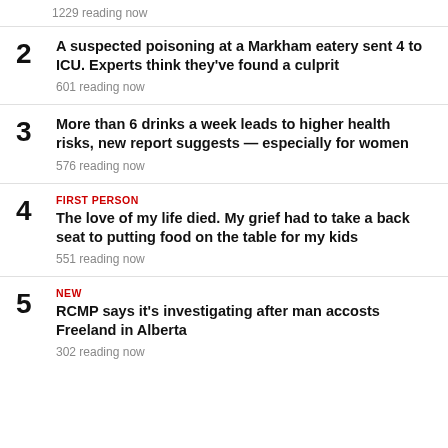1229 reading now
2 A suspected poisoning at a Markham eatery sent 4 to ICU. Experts think they've found a culprit
601 reading now
3 More than 6 drinks a week leads to higher health risks, new report suggests — especially for women
576 reading now
4 FIRST PERSON
The love of my life died. My grief had to take a back seat to putting food on the table for my kids
551 reading now
5 NEW
RCMP says it's investigating after man accosts Freeland in Alberta
302 reading now